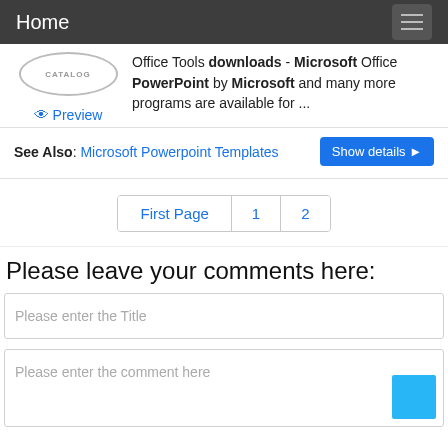Home
Office Tools downloads - Microsoft Office PowerPoint by Microsoft and many more programs are available for ...
Preview
See Also: Microsoft Powerpoint Templates   Show details ▶
First Page  1  2
Please leave your comments here:
Please enter the Title
Please enter the comment here